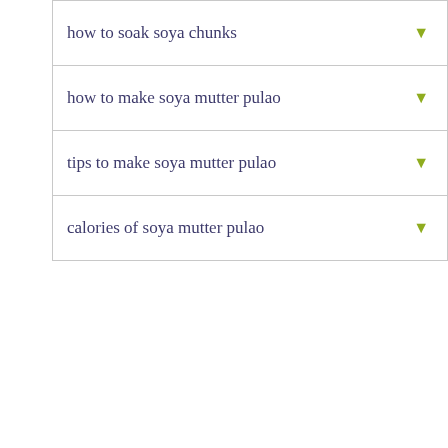how to soak soya chunks
how to make soya mutter pulao
tips to make soya mutter pulao
calories of soya mutter pulao